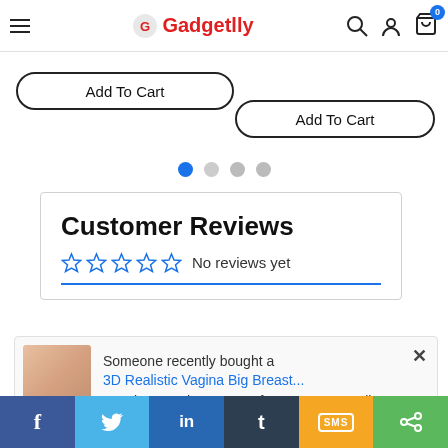Gadgetlly — navigation header with hamburger menu, logo, search, account, and cart icons
Add To Cart
Add To Cart
[Figure (other): Carousel pagination dots — one blue active dot, three grey dots]
Customer Reviews
☆☆☆☆☆ No reviews yet
[Figure (other): Recently purchased popup notification with product image — Someone recently bought a 3D Realistic Vagina Big Breast... 35 minutes minutes ago, from Bauru, Brazil]
Social share bar: Facebook, Twitter, LinkedIn, Tumblr, SMS, Share